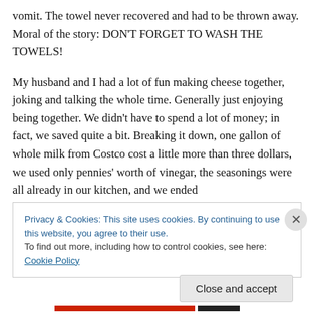vomit. The towel never recovered and had to be thrown away. Moral of the story: DON'T FORGET TO WASH THE TOWELS!

My husband and I had a lot of fun making cheese together, joking and talking the whole time. Generally just enjoying being together. We didn't have to spend a lot of money; in fact, we saved quite a bit. Breaking it down, one gallon of whole milk from Costco cost a little more than three dollars, we used only pennies' worth of vinegar, the seasonings were all already in our kitchen, and we ended
Privacy & Cookies: This site uses cookies. By continuing to use this website, you agree to their use.
To find out more, including how to control cookies, see here: Cookie Policy